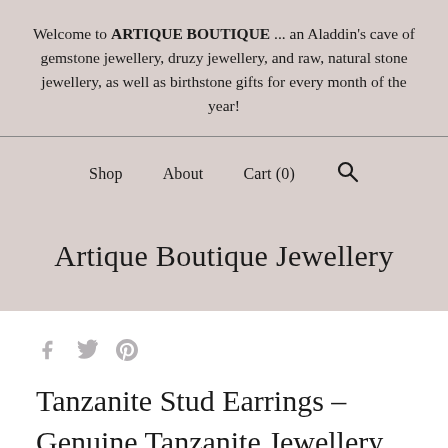Welcome to ARTIQUE BOUTIQUE ... an Aladdin's cave of gemstone jewellery, druzy jewellery, and raw, natural stone jewellery, as well as birthstone gifts for every month of the year!
Shop   About   Cart (0)   🔍
Artique Boutique Jewellery
social icons: Facebook, Twitter, Pinterest
Tanzanite Stud Earrings – Genuine Tanzanite Jewellery